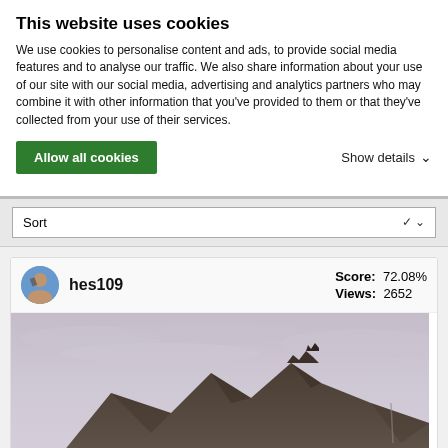This website uses cookies
We use cookies to personalise content and ads, to provide social media features and to analyse our traffic. We also share information about your use of our site with our social media, advertising and analytics partners who may combine it with other information that you've provided to them or that they've collected from your use of their services.
Allow all cookies
Show details
Sort
hes109  Score: 72.08%  Views: 2652
[Figure (photo): Mountain peak photograph with rocky summit against overcast sky, with snow visible at bottom left corner]